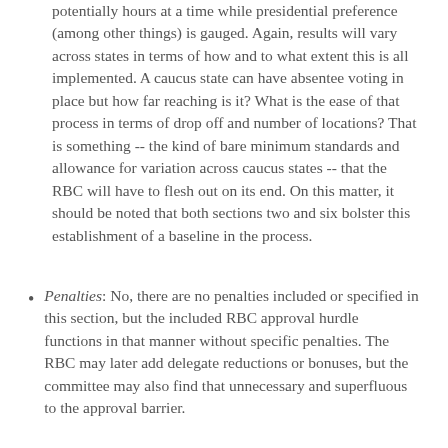potentially hours at a time while presidential preference (among other things) is gauged. Again, results will vary across states in terms of how and to what extent this is all implemented. A caucus state can have absentee voting in place but how far reaching is it? What is the ease of that process in terms of drop off and number of locations? That is something -- the kind of bare minimum standards and allowance for variation across caucus states -- that the RBC will have to flesh out on its end. On this matter, it should be noted that both sections two and six bolster this establishment of a baseline in the process.
Penalties: No, there are no penalties included or specified in this section, but the included RBC approval hurdle functions in that manner without specific penalties. The RBC may later add delegate reductions or bonuses, but the committee may also find that unnecessary and superfluous to the approval barrier.